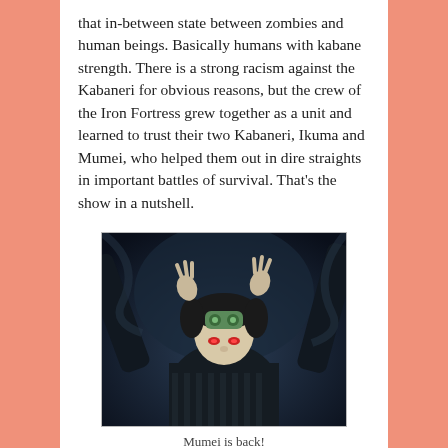that in-between state between zombies and human beings. Basically humans with kabane strength. There is a strong racism against the Kabaneri for obvious reasons, but the crew of the Iron Fortress grew together as a unit and learned to trust their two Kabaneri, Ikuma and Mumei, who helped them out in dire straights in important battles of survival. That's the show in a nutshell.
[Figure (photo): Anime screenshot from Kabaneri of the Iron Fortress showing the character Mumei looking upward in a dark, dramatic scene with mechanical elements in the background.]
Mumei is back!